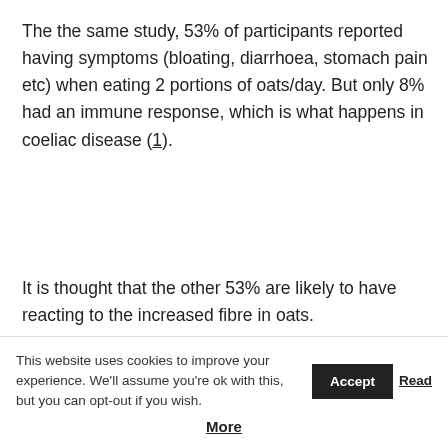The the same study, 53% of participants reported having symptoms (bloating, diarrhoea, stomach pain etc) when eating 2 portions of oats/day. But only 8% had an immune response, which is what happens in coeliac disease (1).
It is thought that the other 53% are likely to have reacting to the increased fibre in oats.
This website uses cookies to improve your experience. We'll assume you're ok with this, but you can opt-out if you wish. Accept Read More